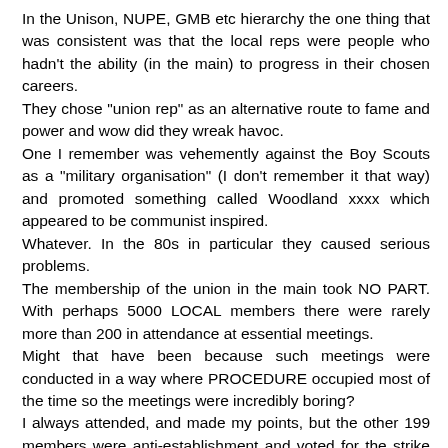In the Unison, NUPE, GMB etc hierarchy the one thing that was consistent was that the local reps were people who hadn't the ability (in the main) to progress in their chosen careers.
They chose "union rep" as an alternative route to fame and power and wow did they wreak havoc.
One I remember was vehemently against the Boy Scouts as a "military organisation" (I don't remember it that way) and promoted something called Woodland xxxx which appeared to be communist inspired.
Whatever. In the 80s in particular they caused serious problems.
The membership of the union in the main took NO PART. With perhaps 5000 LOCAL members there were rarely more than 200 in attendance at essential meetings.
Might that have been because such meetings were conducted in a way where PROCEDURE occupied most of the time so the meetings were incredibly boring?
I always attended, and made my points, but the other 199 members were anti-establishment and voted for the strike or whatever. The other 4800? Well in general they went along with what they were told. I doubt that many